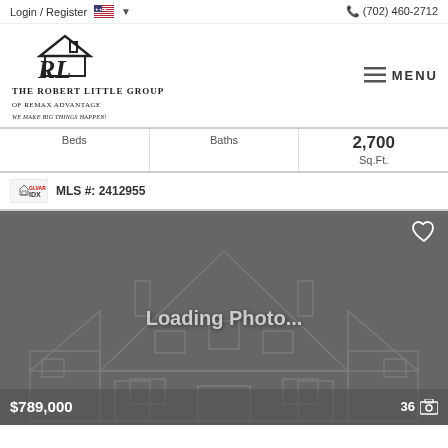Login / Register  (702) 460-2712
[Figure (logo): The Robert Little Group of Remax Advantage logo with house icon and RL letters, tagline: We Make Big Things Happen!]
| Beds | Baths | Sq.Ft. |
| --- | --- | --- |
|  |  | 2,700 |
MLS #: 2412955
[Figure (photo): Loading Photo... placeholder image with house outline on dark gray background, heart icon top right, price $789,000 bottom left, 36 photos indicator bottom right]